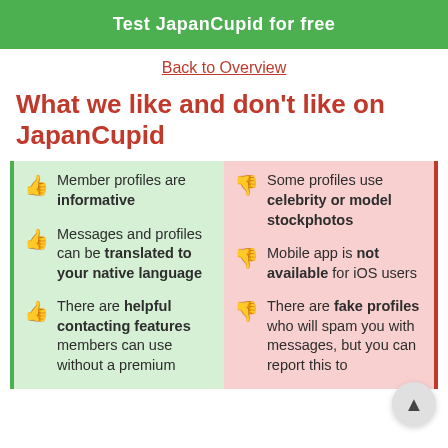[Figure (other): Green button with white text 'Test JapanCupid for free']
Back to Overview
What we like and don't like on JapanCupid
Member profiles are informative
Messages and profiles can be translated to your native language
There are helpful contacting features members can use without a premium
Some profiles use celebrity or model stockphotos
Mobile app is not available for iOS users
There are fake profiles who will spam you with messages, but you can report this to